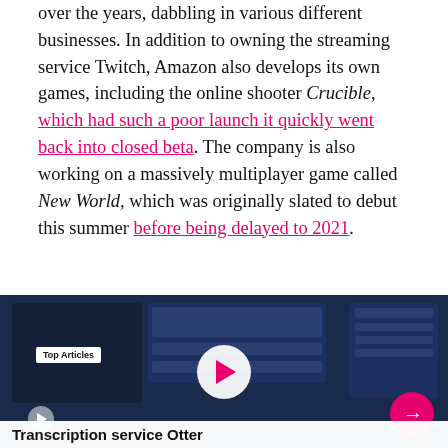over the years, dabbling in various different businesses. In addition to owning the streaming service Twitch, Amazon also develops its own games, including the online shooter Crucible, which had such a poor launch it quickly went back into closed beta. The company is also working on a massively multiplayer game called New World, which was originally slated to debut this summer before being delayed to 2021.
[Figure (screenshot): Screenshot of a video player interface showing a transcription/collaboration app UI with dark blue panels, a central play button, a small play button on the left, an arrow button on the right, a 'Top Articles' badge overlay, and a caption bar reading 'Transcription service Otter']